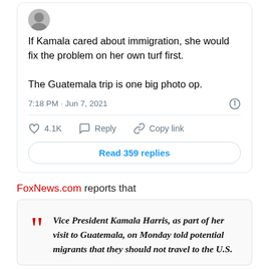[Figure (screenshot): Tweet card showing: 'If Kamala cared about immigration, she would fix the problem on her own turf first. The Guatemala trip is one big photo op.' Timestamp: 7:18 PM · Jun 7, 2021. Actions: heart 4.1K, Reply, Copy link. Button: Read 359 replies.]
FoxNews.com reports that
Vice President Kamala Harris, as part of her visit to Guatemala, on Monday told potential migrants that they should not travel to the U.S.